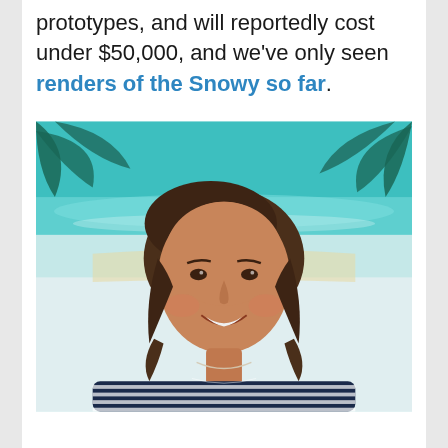prototypes, and will reportedly cost under $50,000, and we've only seen renders of the Snowy so far.
[Figure (photo): Portrait photo of a smiling woman with dark brown hair, wearing a navy and white striped top and a thin necklace. Background shows a beach mural with teal/turquoise water and palm trees.]